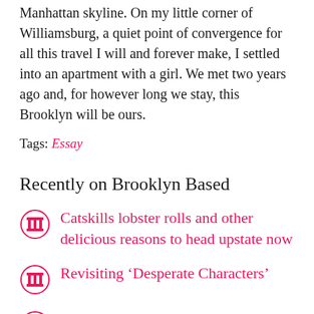Manhattan skyline. On my little corner of Williamsburg, a quiet point of convergence for all this travel I will and forever make, I settled into an apartment with a girl. We met two years ago and, for however long we stay, this Brooklyn will be ours.
Tags: Essay
Recently on Brooklyn Based
Catskills lobster rolls and other delicious reasons to head upstate now
Revisiting ‘Desperate Characters’
(partially visible)